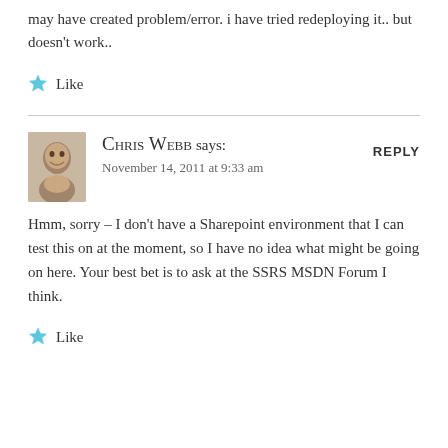may have created problem/error. i have tried redeploying it.. but doesn't work..
Like
Chris Webb says:
November 14, 2011 at 9:33 am
Hmm, sorry – I don't have a Sharepoint environment that I can test this on at the moment, so I have no idea what might be going on here. Your best bet is to ask at the SSRS MSDN Forum I think.
Like